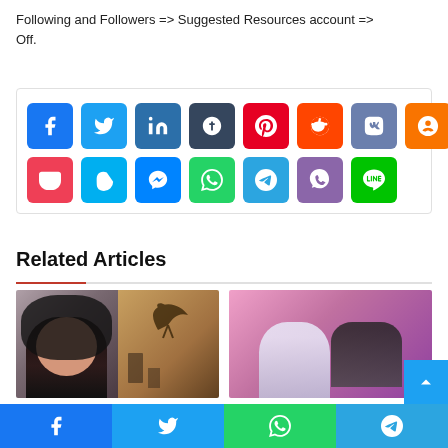Following and Followers => Suggested Resources account => Off.
[Figure (infographic): Social share buttons grid: two rows of colored icon buttons for Facebook, Twitter, LinkedIn, Tumblr, Pinterest, Reddit, VK, Odnoklassniki (top row); Pocket, Skype, Messenger, WhatsApp, Telegram, Phone/Viber, Line (bottom row)]
Related Articles
[Figure (photo): Left article thumbnail: composite of two photos, one showing an Asian girl with long dark hair, another showing a person in a room with a bird mural]
[Figure (photo): Right article thumbnail: two women posing, pink/purple background]
[Figure (infographic): Bottom sticky social share bar with Facebook (blue), Twitter (light blue), WhatsApp (green), Telegram (blue) buttons]